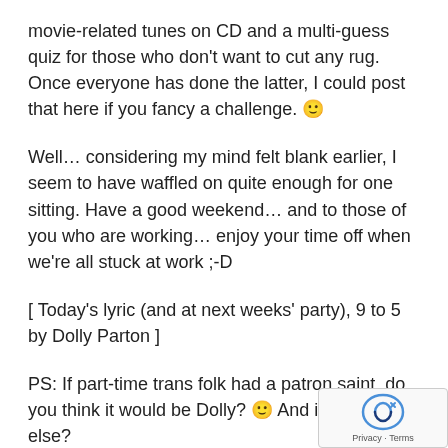movie-related tunes on CD and a multi-guess quiz for those who don't want to cut any rug. Once everyone has done the latter, I could post that here if you fancy a challenge. 🙂
Well… considering my mind felt blank earlier, I seem to have waffled on quite enough for one sitting. Have a good weekend… and to those of you who are working… enjoy your time off when we're all stuck at work ;-D
[ Today's lyric (and at next weeks' party), 9 to 5 by Dolly Parton ]
PS: If part-time trans folk had a patron saint, do you think it would be Dolly? 🙂 And if not, who else?
PPS: I also noticed that today is 8/8/8. Nice if you palindromes or you are Bel-Shamharoth. Not so good if